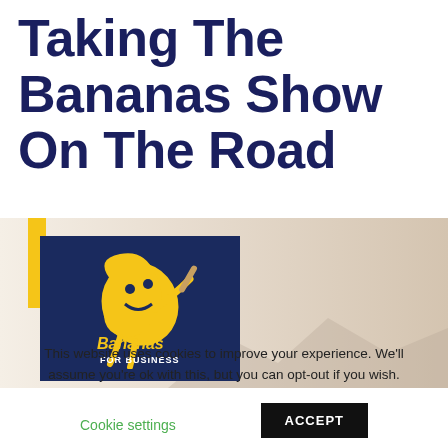Taking The Bananas Show On The Road
[Figure (illustration): Banner image with a yellow vertical bar on the left, a dark navy blue box containing the Bananas for Business logo (yellow cartoon banana character holding a baseball bat with text 'Bananas FOR BUSINESS'), and a warm beige/tan gradient background with faint mountain silhouettes on the right.]
This website uses cookies to improve your experience. We'll assume you're ok with this, but you can opt-out if you wish.
Cookie settings
ACCEPT